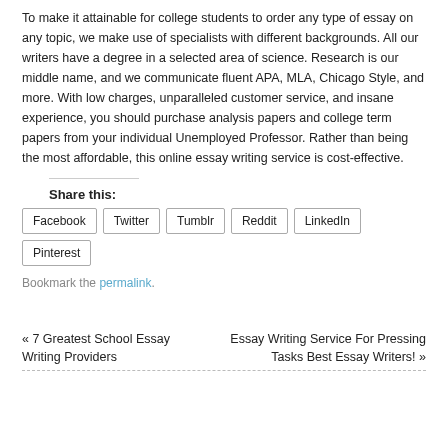To make it attainable for college students to order any type of essay on any topic, we make use of specialists with different backgrounds. All our writers have a degree in a selected area of science. Research is our middle name, and we communicate fluent APA, MLA, Chicago Style, and more. With low charges, unparalleled customer service, and insane experience, you should purchase analysis papers and college term papers from your individual Unemployed Professor. Rather than being the most affordable, this online essay writing service is cost-effective.
Share this:
Facebook
Twitter
Tumblr
Reddit
LinkedIn
Pinterest
Bookmark the permalink.
« 7 Greatest School Essay Writing Providers
Essay Writing Service For Pressing Tasks Best Essay Writers! »